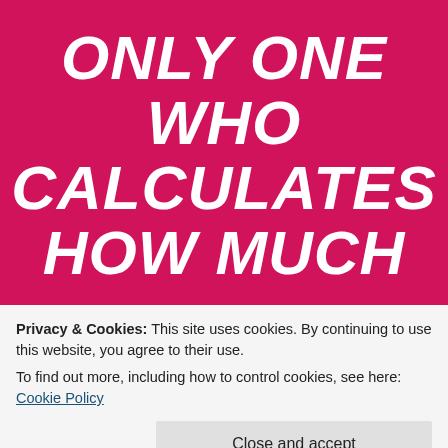ONLY ONE WHO CALCULATES HOW MUCH
Privacy & Cookies: This site uses cookies. By continuing to use this website, you agree to their use.
To find out more, including how to control cookies, see here: Cookie Policy
Close and accept
I CAN GET